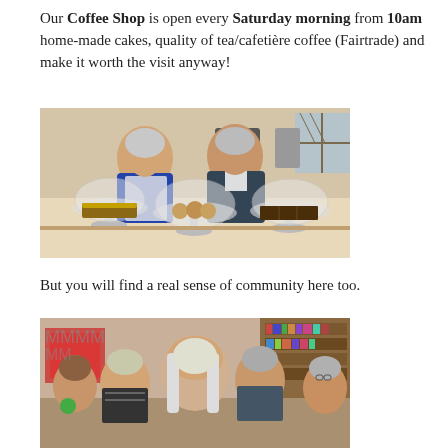Our Coffee Shop is open every Saturday morning from 10am home-made cakes, quality of tea/cafetière coffee (Fairtrade) and make it worth the visit anyway!
[Figure (photo): Two women standing behind a counter with three glass cake stands displaying cakes, scones and other baked goods in what appears to be a church or community hall coffee shop.]
But you will find a real sense of community here too.
[Figure (photo): Group of women seated around tables in a community gathering, some chatting, with bookshelves visible in the background.]